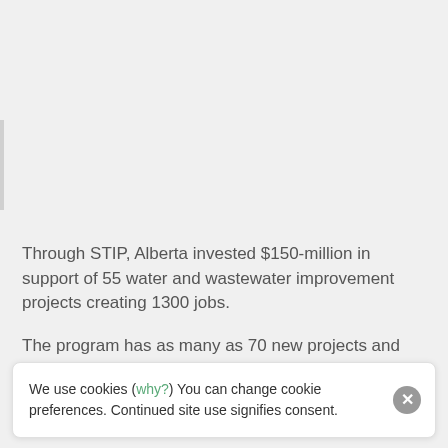Through STIP, Alberta invested $150-million in support of 55 water and wastewater improvement projects creating 1300 jobs.
The program has as many as 70 new projects and created at least 475 jobs across the province.
#YMM | ALBERTA | ANZAC | CONKLIN | FORT MCMURRAY | FORT MCMURRAY-LAC LA BICHE MLA LAILA GOODRIDGE | GREGOIRE
We use cookies (why?) You can change cookie preferences. Continued site use signifies consent.